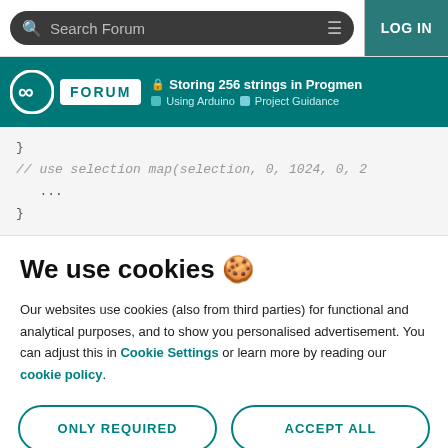Search Forum | LOG IN
Arduino FORUM | 🔒 Storing 256 strings in Progmen | Using Arduino > Project Guidance
}
// use selection map(selection, 0, 1024, 0, 2...
...
}
We use cookies 🍪
Our websites use cookies (also from third parties) for functional and analytical purposes, and to show you personalised advertisement. You can adjust this in Cookie Settings or learn more by reading our cookie policy.
ONLY REQUIRED | ACCEPT ALL